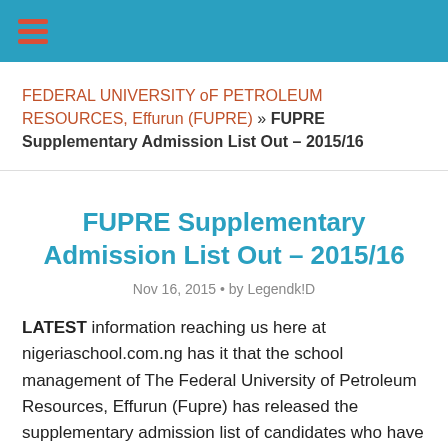≡ (hamburger menu icon)
FEDERAL UNIVERSITY oF PETROLEUM RESOURCES, Effurun (FUPRE) » FUPRE Supplementary Admission List Out – 2015/16
FUPRE Supplementary Admission List Out – 2015/16
Nov 16, 2015 • by Legendk!D
LATEST information reaching us here at nigeriaschool.com.ng has it that the school management of The Federal University of Petroleum Resources, Effurun (Fupre) has released the supplementary admission list of candidates who have been offered provisional